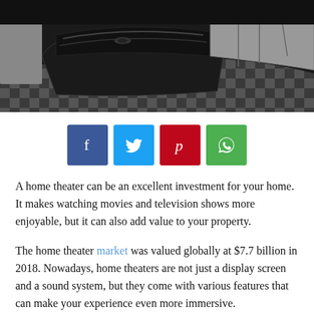[Figure (photo): Home theater interior with black leather recliner seats and checkered floor pattern, viewed from seating level angle]
[Figure (infographic): Social sharing buttons: Facebook (blue), Twitter (light blue), Pinterest (red), WhatsApp (green)]
A home theater can be an excellent investment for your home. It makes watching movies and television shows more enjoyable, but it can also add value to your property.
The home theater market was valued globally at $7.7 billion in 2018. Nowadays, home theaters are not just a display screen and a sound system, but they come with various features that can make your experience even more immersive.